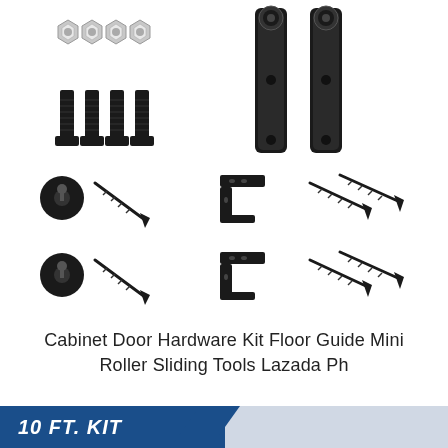[Figure (photo): Product flat-lay photo of cabinet door sliding barn door hardware kit components on white background: nuts/washers, bolts/screws, two black strap hangers with rollers, door stoppers (round black caps), floor guide brackets (L-shaped black metal), and wood screws arranged in rows.]
Cabinet Door Hardware Kit Floor Guide Mini Roller Sliding Tools Lazada Ph
[Figure (photo): Partial banner/badge graphic at bottom showing '10 FT. KIT' text in white italic bold on dark blue triangular background, with light grey/white panel visible to the right.]